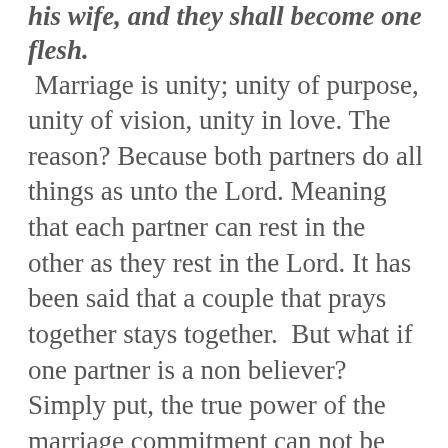his wife, and they shall become one flesh.
Marriage is unity; unity of purpose, unity of vision, unity in love. The reason? Because both partners do all things as unto the Lord. Meaning that each partner can rest in the other as they rest in the Lord. It has been said that a couple that prays together stays together.  But what if one partner is a non believer? Simply put, the true power of the marriage commitment can not be realized and the lack of unity can be exploited by the devil to rip off the believer and non believer alike. How? The believer, in an effort to make peace in their household and